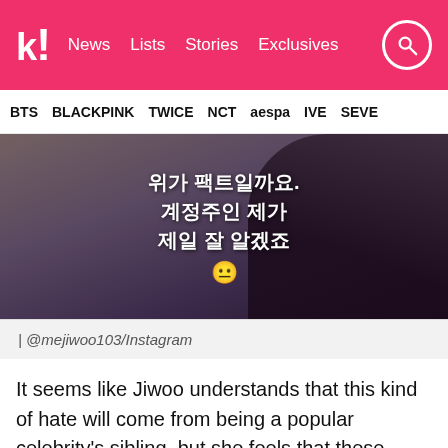k! News  Lists  Stories  Exclusives
BTS  BLACKPINK  TWICE  NCT  aespa  IVE  SEVE
[Figure (photo): Screenshot of an Instagram post by @mejiwoo103 showing Korean text overlay on a dark background image. The Korean text reads: 위가 팩트일까요. 계정주인 제가 제일 잘 알겠죠 with a neutral face emoji.]
| @mejiwoo103/Instagram
It seems like Jiwoo understands that this kind of hate will come from being a popular celebrity's sibling, but she feels that these types of comments are crossing the limits. Fans are continuing to support her and her brand and hope that she will stay strong among the haters.